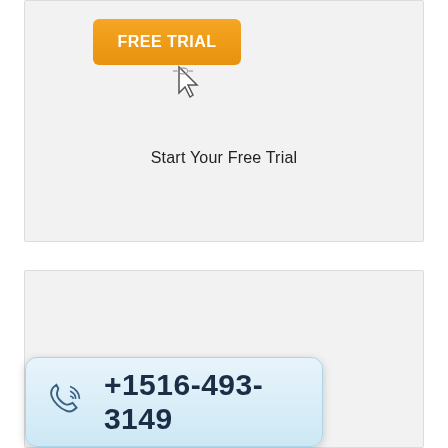[Figure (screenshot): Orange 'FREE TRIAL' button with cursor pointer icon hovering over it]
Start Your Free Trial
[Figure (screenshot): Light blue phone bar with phone icon and number +1516-493-3149]